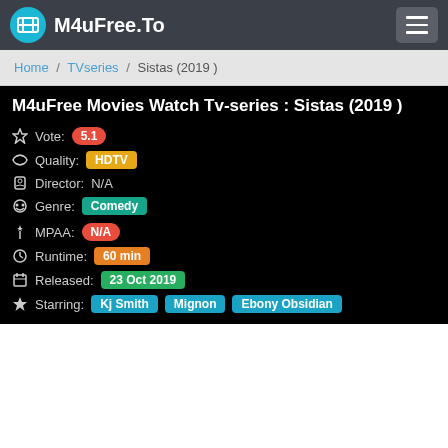M4uFree.To
Home / TVseries / Sistas (2019 )
M4uFree Movies Watch Tv-series : Sistas (2019 )
Vote: 5.1
Quality: HDTV
Director: N/A
Genre: Comedy
MPAA: N/A
Runtime: 60 min
Released: 23 Oct 2019
Starring: Kj Smith, Mignon, Ebony Obsidian
[Figure (other): White placeholder area for media player or image]